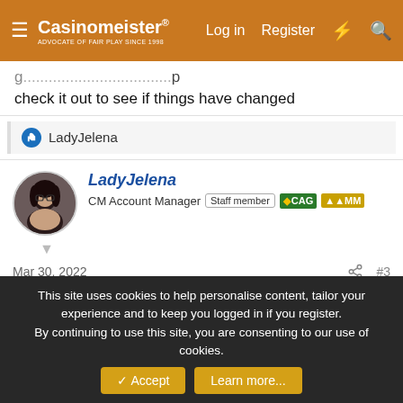Casinomeister® | Log in | Register
check it out to see if things have changed
👍 LadyJelena
LadyJelena
CM Account Manager | Staff member | CAG | MM
Mar 30, 2022  #3
They used to have so many awesome Playtech games, back in time when I played once and made nice withdrawal 🙂
She is like a cat in the dark
And then she is the darkness
She rules her life like a fine skylark
This site uses cookies to help personalise content, tailor your experience and to keep you logged in if you register.
By continuing to use this site, you are consenting to our use of cookies.
Accept | Learn more...